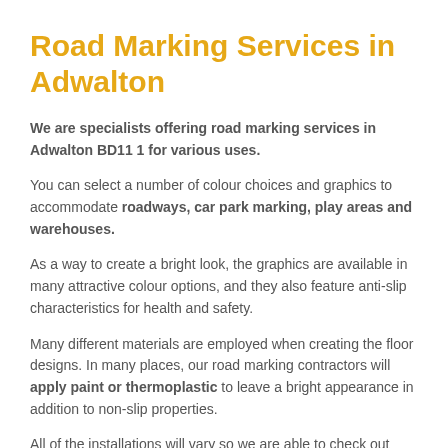Road Marking Services in Adwalton
We are specialists offering road marking services in Adwalton BD11 1 for various uses.
You can select a number of colour choices and graphics to accommodate roadways, car park marking, play areas and warehouses.
As a way to create a bright look, the graphics are available in many attractive colour options, and they also feature anti-slip characteristics for health and safety.
Many different materials are employed when creating the floor designs. In many places, our road marking contractors will apply paint or thermoplastic to leave a bright appearance in addition to non-slip properties.
All of the installations will vary so we are able to check out exactly what you need and provide the ideal specifications to suit your